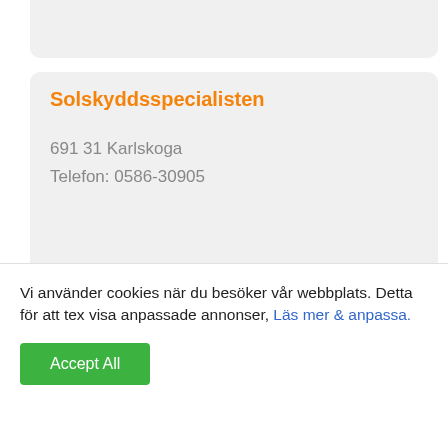Solskyddsspecialisten
691 31 Karlskoga
Telefon: 0586-30905
Legu:s markiser
692 22 Kumla
Telefon: 019-578746
Vi använder cookies när du besöker vår webbplats. Detta för att tex visa anpassade annonser, Läs mer & anpassa.
Accept All